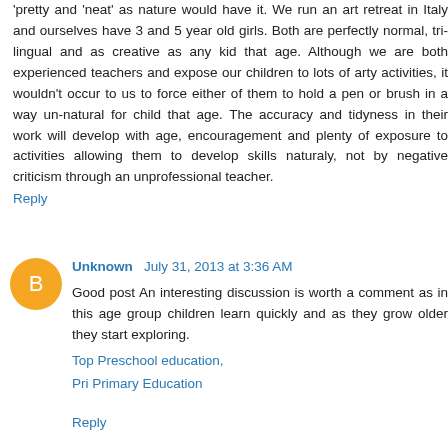'pretty and 'neat' as nature would have it. We run an art retreat in Italy and ourselves have 3 and 5 year old girls. Both are perfectly normal, tri-lingual and as creative as any kid that age. Although we are both experienced teachers and expose our children to lots of arty activities, it wouldn't occur to us to force either of them to hold a pen or brush in a way un-natural for child that age. The accuracy and tidyness in their work will develop with age, encouragement and plenty of exposure to activities allowing them to develop skills naturaly, not by negative criticism through an unprofessional teacher.
Reply
Unknown  July 31, 2013 at 3:36 AM
Good post An interesting discussion is worth a comment as in this age group children learn quickly and as they grow older they start exploring.
Top Preschool education,
Pri Primary Education
Reply